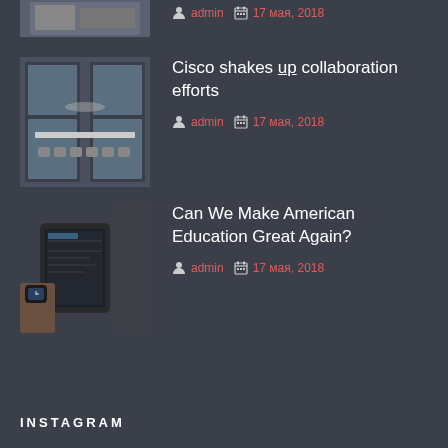[Figure (photo): Partial view of a conference room image, cropped at top]
admin  17 мая, 2018
[Figure (photo): Conference room with long table, chairs, and windows]
Cisco shakes up collaboration efforts
admin  17 мая, 2018
[Figure (photo): Person using a tablet device with a watch visible]
Can We Make American Education Great Again?
admin  17 мая, 2018
INSTAGRAM
Invalid data